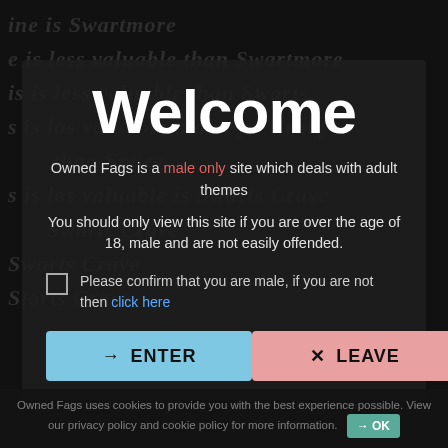Welcome
Owned Fags is a male only site which deals with adult themes
You should only view this site if you are over the age of 18, male and are not easily offended.
Please confirm that you are male, if you are not then click here
ENTER
LEAVE
Owned Fags uses cookies to provide you with the best experience possible. View our privacy policy and cookie policy for more information.